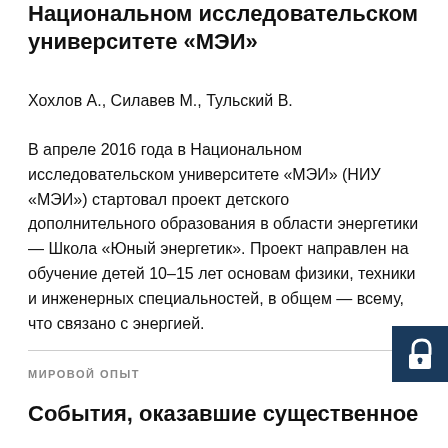Национальном исследовательском университете «МЭИ»
Хохлов А., Силавев М., Тульский В.
В апреле 2016 года в Национальном исследовательском университете «МЭИ» (НИУ «МЭИ») стартовал проект детского дополнительного образования в области энергетики — Школа «Юный энергетик». Проект направлен на обучение детей 10–15 лет основам физики, техники и инженерных специальностей, в общем — всему, что связано с энергией.
[Figure (other): Open padlock icon on dark navy blue square background]
МИРОВОЙ ОПЫТ
События, оказавшие существенное